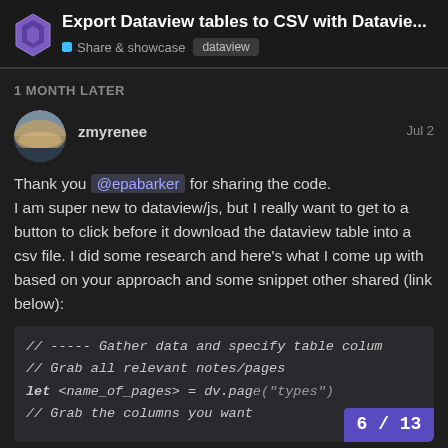Export Dataview tables to CSV with Datavie... | Share & showcase | dataview
1 MONTH LATER
zmyrenee   Jul 2
Thank you @epabarker for sharing the code. I am super new to dataview/js, but I really want to get to a button to click before it download the dataview table into a csv file. I did some research and here's what I come up with based on your approach and some snippet other shared (link below):
// ----- Gather data and specify table colum
// Grab all relevant notes/pages
let <name_of_pages> = dv.page("types")
// Grab the columns you want
// ...
6 / 13